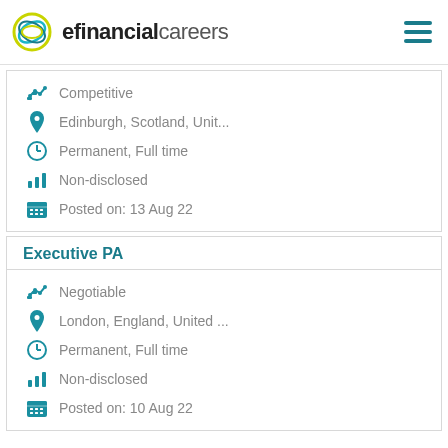efinancialcareers
Competitive | Edinburgh, Scotland, Unit... | Permanent, Full time | Non-disclosed | Posted on: 13 Aug 22
Executive PA
Negotiable | London, England, United ... | Permanent, Full time | Non-disclosed | Posted on: 10 Aug 22